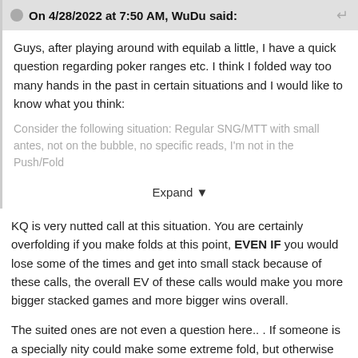On 4/28/2022 at 7:50 AM, WuDu said:
Guys, after playing around with equilab a little, I have a quick question regarding poker ranges etc. I think I folded way too many hands in the past in certain situations and I would like to know what you think:
Consider the following situation: Regular SNG/MTT with small antes, not on the bubble, no specific reads, I'm not in the Push/Fold
Expand ▾
KQ is very nutted call at this situation. You are certainly overfolding if you make folds at this point, EVEN IF you would lose some of the times and get into small stack because of these calls, the overall EV of these calls would make you more bigger stacked games and more bigger wins overall.
The suited ones are not even a question here.. . If someone is a specially nity could make some extreme fold, but otherwise just click it and run it no matter what.